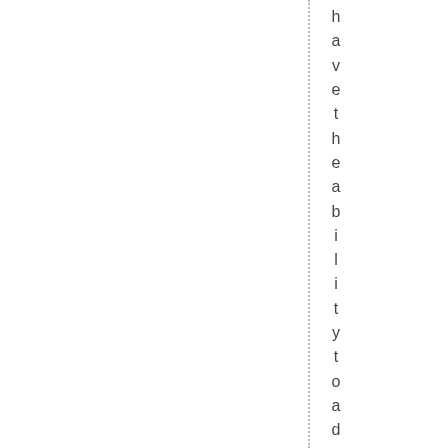have the ability to add apps on the